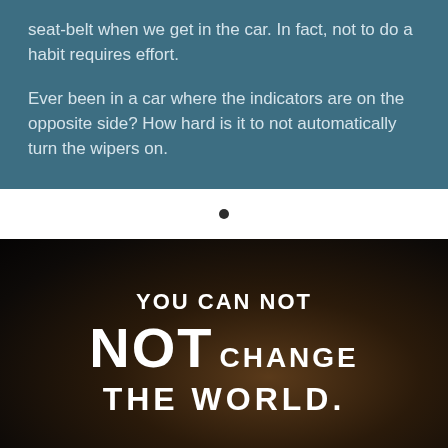seat-belt when we get in the car. In fact, not to do a habit requires effort.
Ever been in a car where the indicators are on the opposite side? How hard is it to not automatically turn the wipers on.
[Figure (illustration): Dark background motivational image with large white bold text reading: YOU CAN NOT NOT CHANGE THE WORLD.]